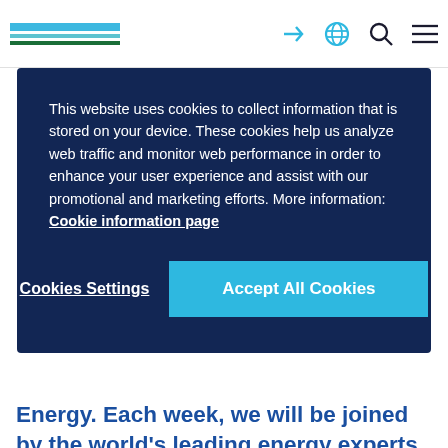[Figure (screenshot): Website navigation bar with logo bars and icons (login, globe, search, menu)]
This website uses cookies to collect information that is stored on your device. These cookies help us analyze web traffic and monitor web performance in order to enhance your user experience and assist with our promotional and marketing efforts. More information: Cookie information page
Cookies Settings
Accept All Cookies
Energy. Each week, we will be joined by the world's leading energy experts to discuss their insights and opinions on how governments, business leaders and